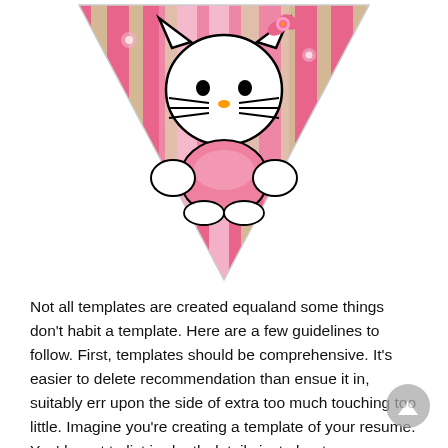[Figure (illustration): A Hello Kitty pennant/banner flag shape — a downward-pointing triangle with pink and beige vertical stripes. Hello Kitty character (white cat with pink bow/flower on ear, pink outfit) is centered in the upper portion of the triangle.]
Not all templates are created equaland some things don't habit a template. Here are a few guidelines to follow. First, templates should be comprehensive. It's easier to delete recommendation than ensue it in, suitably err upon the side of extra too much touching too little. Imagine you're creating a template of your resume. You'd want to list in-depth details just about your responsibilities and achievements, as a result you'll have every the info you